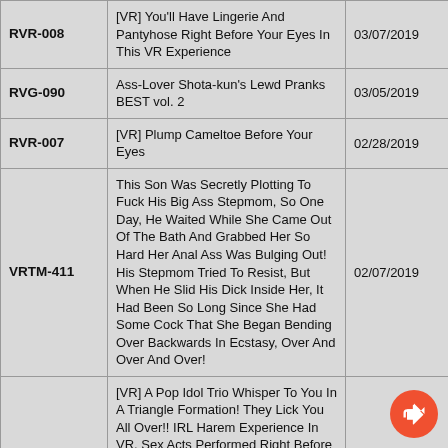| Code | Title | Date |
| --- | --- | --- |
| RVR-008 | [VR] You'll Have Lingerie And Pantyhose Right Before Your Eyes In This VR Experience | 03/07/2019 |
| RVG-090 | Ass-Lover Shota-kun's Lewd Pranks BEST vol. 2 | 03/05/2019 |
| RVR-007 | [VR] Plump Cameltoe Before Your Eyes | 02/28/2019 |
| VRTM-411 | This Son Was Secretly Plotting To Fuck His Big Ass Stepmom, So One Day, He Waited While She Came Out Of The Bath And Grabbed Her So Hard Her Anal Ass Was Bulging Out! His Stepmom Tried To Resist, But When He Slid His Dick Inside Her, It Had Been So Long Since She Had Some Cock That She Began Bending Over Backwards In Ecstasy, Over And Over And Over! | 02/07/2019 |
| WAVR-041 | [VR] A Pop Idol Trio Whisper To You In A Triangle Formation! They Lick You All Over!! IRL Harem Experience In VR. Sex Acts Performed Right Before Your Eyes As The Girls Whisper In Your Ears! Discover Sensations You've Never Experienced Before With The Pop Idol Groove Of The Holy Trinity. Reverse Foursome VR!! | 02/07/2019 |
| AVOP-416 | The Original If I Could Make Time Stop! Part … | 01/31/2019 |